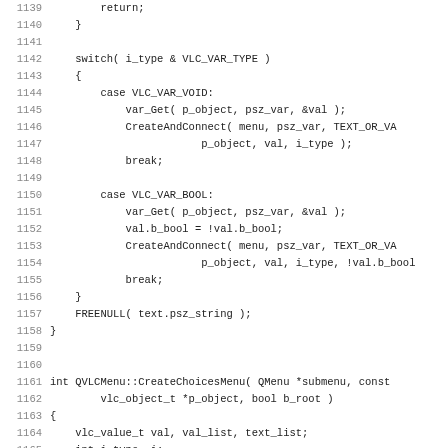Source code listing, lines 1139-1171, C++ VLC media player source code showing switch statement handling VLC_VAR_VOID and VLC_VAR_BOOL cases, and CreateChoicesMenu function definition.